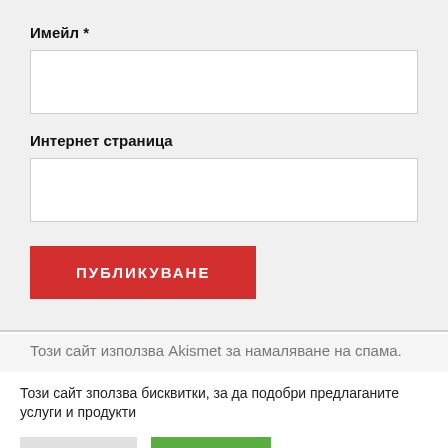[top of input field — partially visible]
Имейл *
[email input field]
Интернет страница
[website input field]
ПУБЛИКУВАНЕ
Този сайт използва Akismet за намаляване на спама.
Този сайт зползва бисквитки, за да подобри предлаганите услуги и продукти
Настройки
Приемам